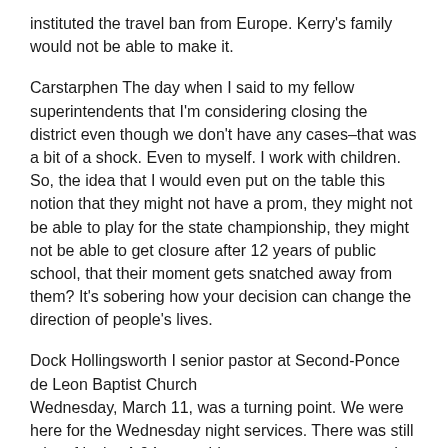instituted the travel ban from Europe. Kerry’s family would not be able to make it.
Carstarphen The day when I said to my fellow superintendents that I’m considering closing the district even though we don’t have any cases–that was a bit of a shock. Even to myself. I work with children. So, the idea that I would even put on the table this notion that they might not have a prom, they might not be able to play for the state championship, they might not be able to get closure after 12 years of public school, that their moment gets snatched away from them? It’s sobering how your decision can change the direction of people’s lives.
Dock Hollingsworth I senior pastor at Second-Ponce de Leon Baptist Church
Wednesday, March 11, was a turning point. We were here for the Wednesday night services. There was still a lot of levity. A 94-year-old man came up to me and said, “Boy, I was relieved that this is targeting people 60 to 80 since it’s been so long since I was 80.” By